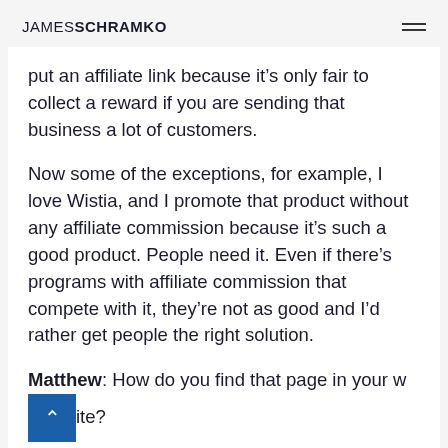JAMESSCHRAMKO
put an affiliate link because it's only fair to collect a reward if you are sending that business a lot of customers.
Now some of the exceptions, for example, I love Wistia, and I promote that product without any affiliate commission because it's such a good product. People need it. Even if there's programs with affiliate commission that compete with it, they're not as good and I'd rather get people the right solution.
Matthew: How do you find that page in your website?